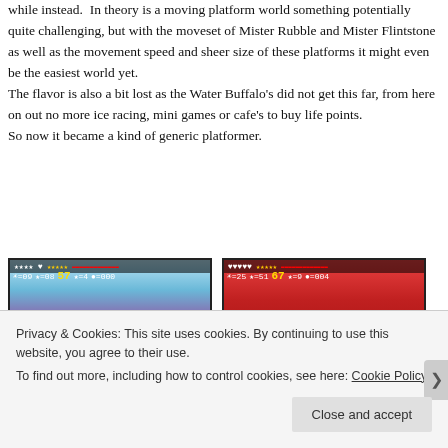while instead. In theory is a moving platform world something potentially quite challenging, but with the moveset of Mister Rubble and Mister Flintstone as well as the movement speed and sheer size of these platforms it might even be the easiest world yet. The flavor is also a bit lost as the Water Buffalo's did not get this far, from here on out no more ice racing, mini games or cafe's to buy life points. So now it became a kind of generic platformer.
[Figure (screenshot): Two side-by-side screenshots of a platform game. Left screenshot shows a purple mountain background with HUD showing icons and numbers: 09, 08, 57, =4, =000. Right screenshot shows a red background with a dragon character and HUD showing: =25, =51, 67, =9, =004.]
Privacy & Cookies: This site uses cookies. By continuing to use this website, you agree to their use.
To find out more, including how to control cookies, see here: Cookie Policy